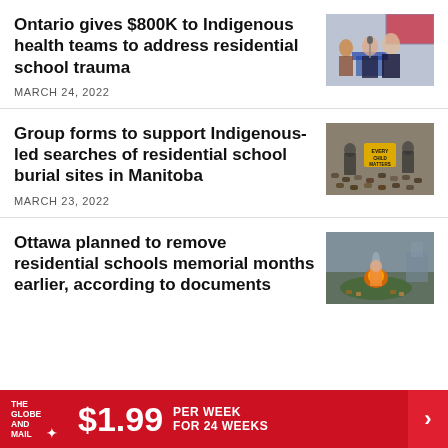Ontario gives $800K to Indigenous health teams to address residential school trauma
MARCH 24, 2022
[Figure (photo): Photo of officials at a press conference, Ontario logo visible on podium]
Group forms to support Indigenous-led searches of residential school burial sites in Manitoba
MARCH 23, 2022
[Figure (photo): Photo of a memorial or protest with a yellow sign]
Ottawa planned to remove residential schools memorial months earlier, according to documents
[Figure (photo): Photo of a memorial site with fire and offerings]
THE GLOBE AND MAIL ✦  $1.99  PER WEEK FOR 24 WEEKS